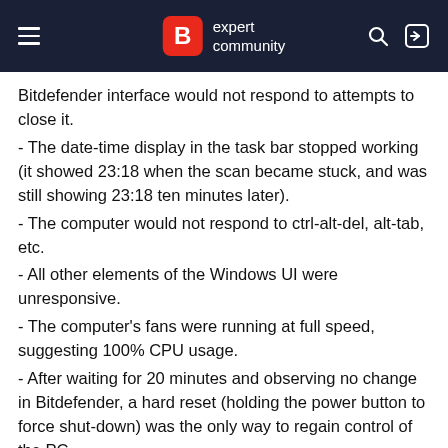B expert community
Bitdefender interface would not respond to attempts to close it.
- The date-time display in the task bar stopped working (it showed 23:18 when the scan became stuck, and was still showing 23:18 ten minutes later).
- The computer would not respond to ctrl-alt-del, alt-tab, etc.
- All other elements of the Windows UI were unresponsive.
- The computer's fans were running at full speed, suggesting 100% CPU usage.
- After waiting for 20 minutes and observing no change in Bitdefender, a hard reset (holding the power button to force shut-down) was the only way to regain control of the PC.
Bitdefender was fully up-to-date and had run one previous system scan successfully. Windows 10 had been fully